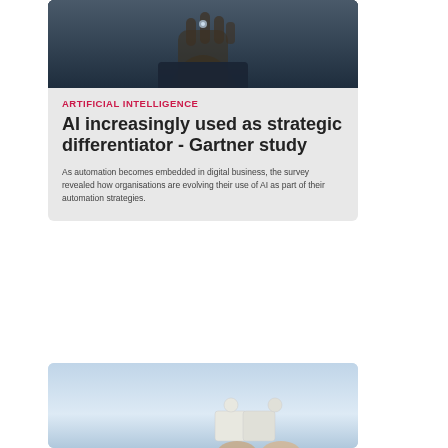[Figure (photo): Person in dark clothing holding something small in their hand, dark background, close-up torso and hand shot]
ARTIFICIAL INTELLIGENCE
AI increasingly used as strategic differentiator - Gartner study
As automation becomes embedded in digital business, the survey revealed how organisations are evolving their use of AI as part of their automation strategies.
[Figure (photo): Hands holding puzzle pieces against a light blue background, partial view]